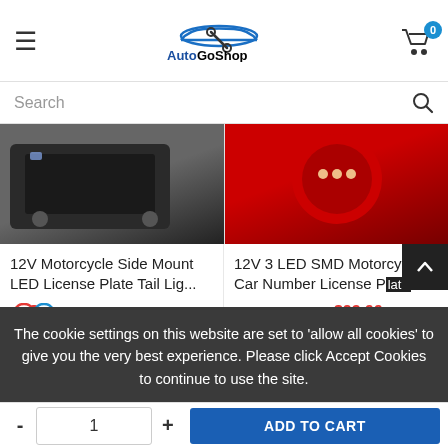AutoGoShop
Search
[Figure (photo): Product image: 12V Motorcycle Side Mount LED License Plate Tail Light]
12V Motorcycle Side Mount LED License Plate Tail Lig...
$148.99  $105.99
[Figure (photo): Product image: 12V 3 LED SMD Motorcycle Car Number License Plate light]
12V 3 LED SMD Motorcycle Car Number License P...
$33.99  $23.99
The cookie settings on this website are set to 'allow all cookies' to give you the very best experience. Please click Accept Cookies to continue to use the site.